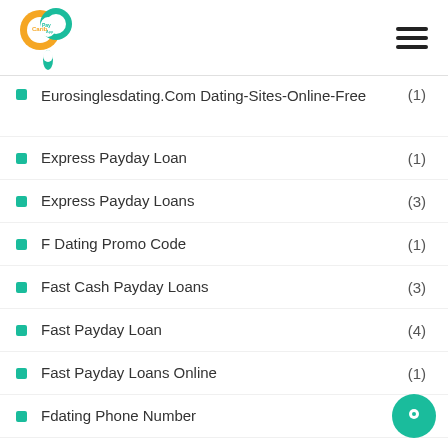Carib Pay App
Eurosinglesdating.Com Dating-Sites-Online-Free (1)
Express Payday Loan (1)
Express Payday Loans (3)
F Dating Promo Code (1)
Fast Cash Payday Loans (3)
Fast Payday Loan (4)
Fast Payday Loans Online (1)
Fdating Phone Number (1)
Fdating Tips (1)
Fdatingpartnersuche.De Pop ?Ber Zu Dieser Web-Site (1)